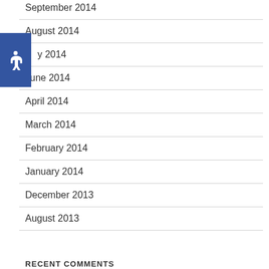September 2014
August 2014
July 2014
June 2014
April 2014
March 2014
February 2014
January 2014
December 2013
August 2013
RECENT COMMENTS